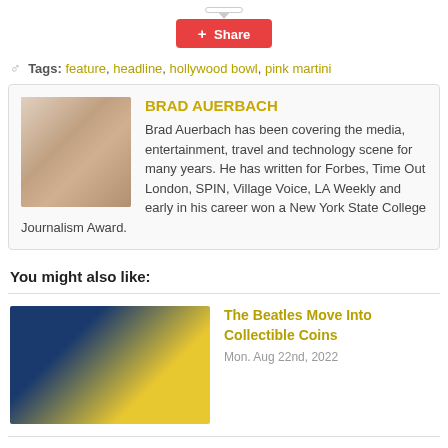[Figure (other): Share button (red button with plus icon and 'Share' text) with speech bubble above]
Tags: feature, headline, hollywood bowl, pink martini
BRAD AUERBACH
Brad Auerbach has been covering the media, entertainment, travel and technology scene for many years. He has written for Forbes, Time Out London, SPIN, Village Voice, LA Weekly and early in his career won a New York State College Journalism Award.
You might also like:
The Beatles Move Into Collectible Coins
Mon. Aug 22nd, 2022
Mike Birbiglia: "The Old Man & The Pool" – Mark Taper Forum
Sun. Aug 21st, 2022